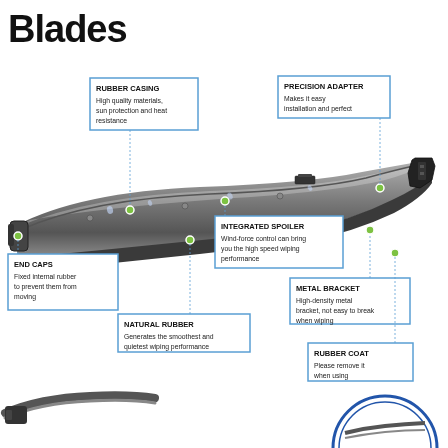Blades
[Figure (infographic): Diagram of a windshield wiper blade with labeled callouts pointing to different parts: Rubber Casing, Precision Adapter, Integrated Spoiler, End Caps, Natural Rubber, Metal Bracket, Rubber Coat. Green dots mark each labeled component on the blade image. Bottom of page shows partial view of another blade and a circular detail cutaway.]